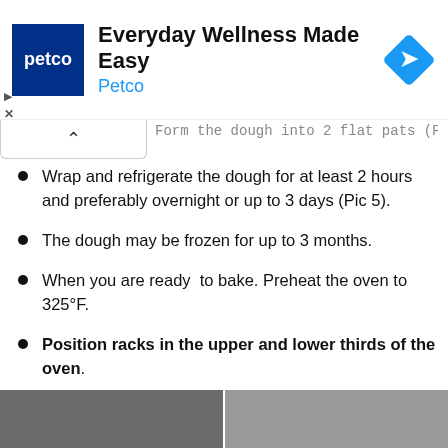[Figure (other): Petco advertisement banner with Petco logo, text 'Everyday Wellness Made Easy' and 'Petco', and a blue diamond navigation icon]
Form the dough into 2 flat pats (Pic 5).
Wrap and refrigerate the dough for at least 2 hours and preferably overnight or up to 3 days (Pic 5).
The dough may be frozen for up to 3 months.
When you are ready to bake. Preheat the oven to 325°F.
Position racks in the upper and lower thirds of the oven.
[Figure (photo): Partial photo strip at the bottom of the page showing food/baking images]